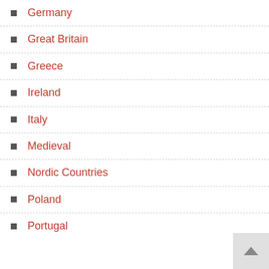Germany
Great Britain
Greece
Ireland
Italy
Medieval
Nordic Countries
Poland
Portugal